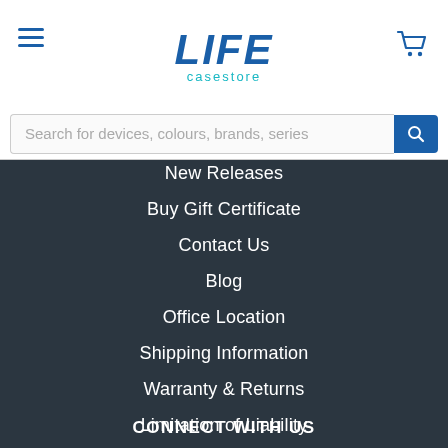[Figure (logo): LIFE casestore logo with hamburger menu and cart icon in white header]
Search for devices, colours, brands, series
New Releases
Buy Gift Certificate
Contact Us
Blog
Office Location
Shipping Information
Warranty & Returns
Limitation of Liability
Terms and Conditions
Privacy Policy
Disclaimer
RSS Syndication
Sitemap
CONNECT WITH US